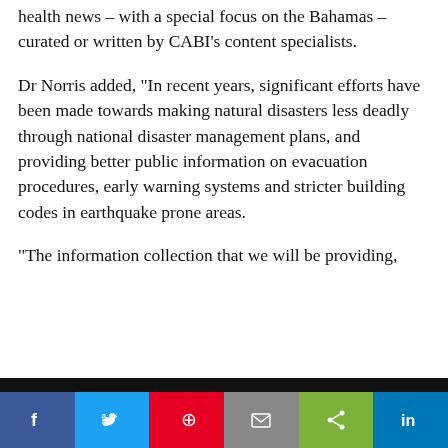health news – with a special focus on the Bahamas – curated or written by CABI's content specialists.
Dr Norris added, "In recent years, significant efforts have been made towards making natural disasters less deadly through national disaster management plans, and providing better public information on evacuation procedures, early warning systems and stricter building codes in earthquake prone areas.
“The information collection that we will be providing,
Like most websites we use cookies. This is to ensure that we give you the best experience possible. Continuing to use CABI.org means you agree to our use of cookies. If you would like to, you can learn more about the cookies we use here.
Facebook | Twitter | Pinterest | Email | Share | LinkedIn